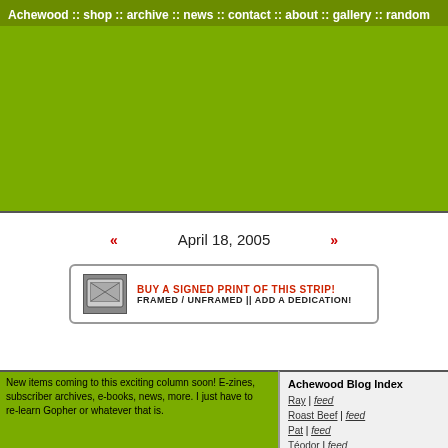Achewood :: shop :: archive :: news :: contact :: about :: gallery :: random comic
[Figure (screenshot): Green banner area (advertisement space)]
« April 18, 2005 »
[Figure (infographic): BUY A SIGNED PRINT OF THIS STRIP! FRAMED / UNFRAMED || ADD A DEDICATION!]
New items coming to this exciting column soon! E-zines, subscriber archives, e-books, news, more. I just have to re-learn Gopher or whatever that is.
Achewood Blog Index
Ray | feed
Roast Beef | feed
Pat | feed
Téodor | feed
Philippe | feed
Mr. Bear | feed
Lyle | feed
Molly | feed
Chris | feed
Nice Pete | feed
Little Nephew | feed
Emeril | feed